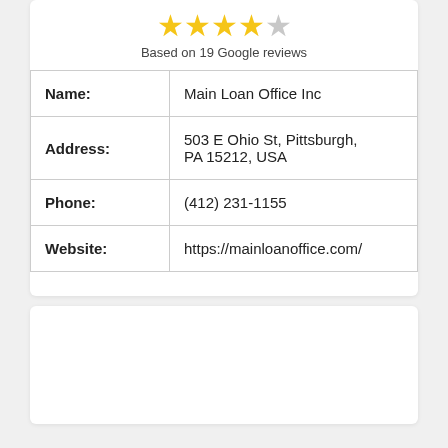[Figure (other): Star rating: 4 out of 5 stars (4 filled gold stars, 1 empty gray star)]
Based on 19 Google reviews
| Name: | Main Loan Office Inc |
| Address: | 503 E Ohio St, Pittsburgh, PA 15212, USA |
| Phone: | (412) 231-1155 |
| Website: | https://mainloanoffice.com/ |
[Figure (other): Empty white card section at the bottom of the page]